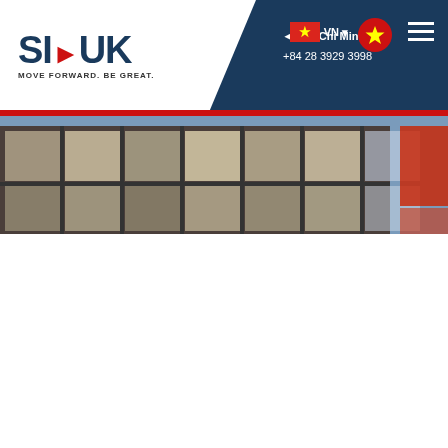[Figure (screenshot): SI-UK website header with logo, Ho Chi Minh city contact details, Vietnamese flag, and hamburger menu on dark blue background]
[Figure (photo): Building exterior with large glass windows and blue sky — university building]
Birkbeck, University of London
[Figure (logo): Birkbeck university logo on blue and dark red background (partially visible)]
[Figure (logo): ATTENDING badge/seal (partially visible)]